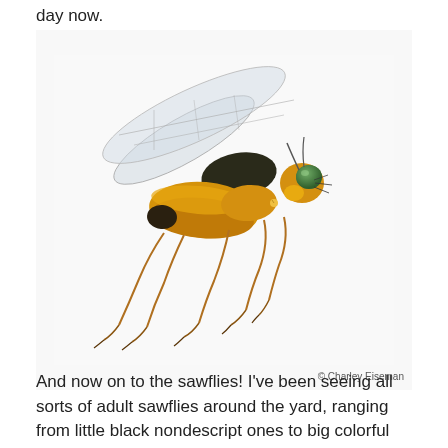day now.
[Figure (photo): Close-up macro photograph of a yellow and black fly (sawfly) on a white background, showing wings, compound eyes, and legs in detail. Photo credit: Charley Eiseman.]
© Charley Eiseman
And now on to the sawflies! I've been seeing all sorts of adult sawflies around the yard, ranging from little black nondescript ones to big colorful ones that resemble ichneumon wasps. But I'm just focusing on larvae here.